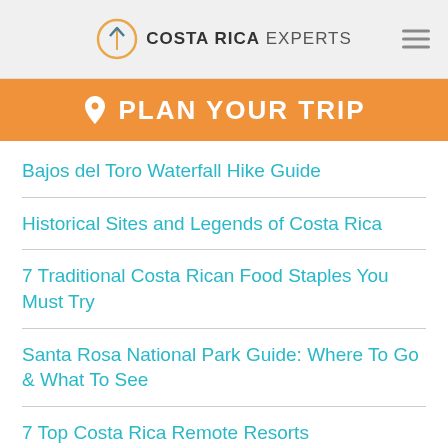COSTA RICA EXPERTS
PLAN YOUR TRIP
Bajos del Toro Waterfall Hike Guide
Historical Sites and Legends of Costa Rica
7 Traditional Costa Rican Food Staples You Must Try
Santa Rosa National Park Guide: Where To Go & What To See
7 Top Costa Rica Remote Resorts
10 Costa Rica Must-Do Bucket List Experiences
Why Not Work Remotely in Costa Rica?